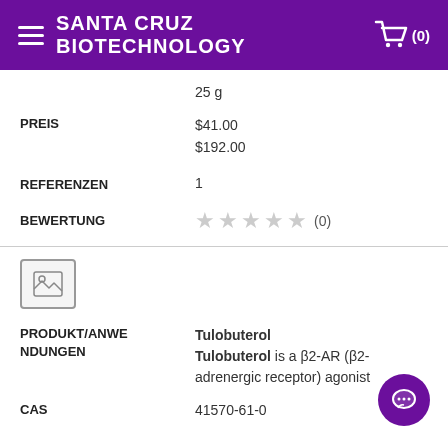SANTA CRUZ BIOTECHNOLOGY
25 g
PREIS
$41.00
$192.00
REFERENZEN
1
BEWERTUNG
(0)
[Figure (other): Image placeholder icon]
PRODUKT/ANWENDUNGEN
Tulobuterol
Tulobuterol is a β2-AR (β2-adrenergic receptor) agonist
CAS
41570-61-0